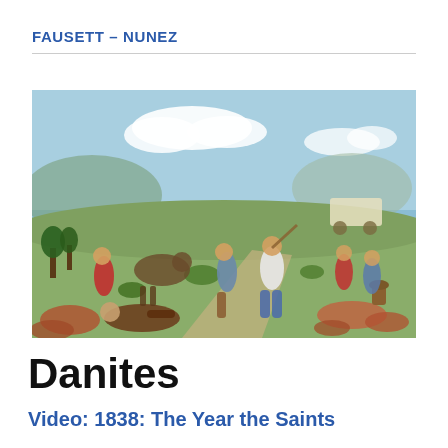FAUSETT – NUNEZ
[Figure (illustration): Historical illustration depicting a violent confrontation scene with multiple figures fighting in an open field landscape. Men in 19th-century clothing are shown brawling, some on horseback in the background, with one figure fallen on the ground. Trees, shrubs, and rolling hills are visible in the background with a blue sky and white clouds.]
Danites
Video: 1838: The Year the Saints